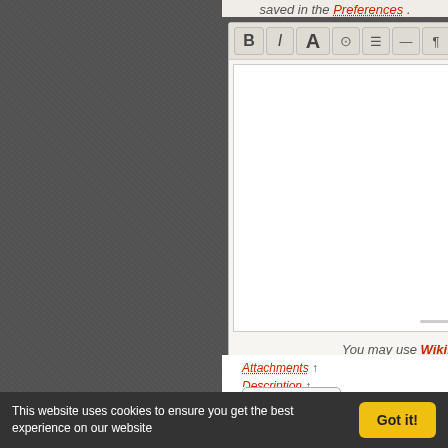saved in the Preferences .
[Figure (screenshot): Wiki text editor with formatting toolbar (Bold, Italic, Large A, globe, list, dash, paragraph, return, image icons) and a large white text area below]
You may use WikiFormatting here.
Attachments ↑ Description ↑
Preview
This website uses cookies to ensure you get the best experience on our website
Got it!